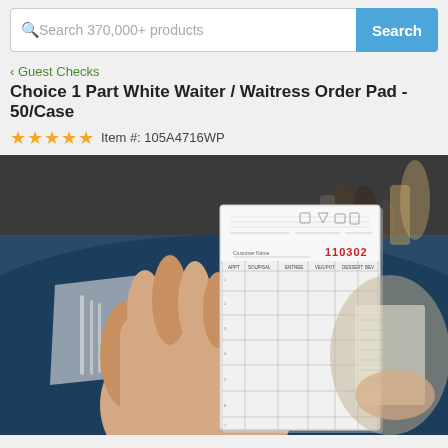Search 370,000+ products
Guest Checks
Choice 1 Part White Waiter / Waitress Order Pad - 50/Case
★★★★★ Item #: 105A4716WP
[Figure (photo): A hand holding a white waiter/waitress order pad with numbered rows and columns (APPT, SOUP/SAL, ENTREE, VEG/POT, DESSERT, BEV) and a red stamped number 110302. Restaurant table setting visible in background with another person holding a notepad.]